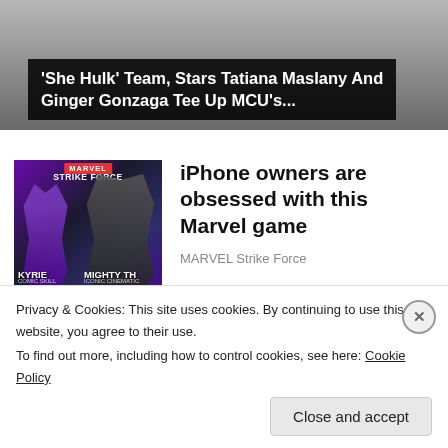[Figure (photo): Top banner image of a person, partially visible, with dark overlay banner showing article title about She Hulk]
'She Hulk' Team, Stars Tatiana Maslany And Ginger Gonzaga Tee Up MCU's...
[Figure (photo): Marvel Strike Force game advertisement image showing Kyrie and Mighty Thor characters with star ratings]
iPhone owners are obsessed with this Marvel game
MARVEL Strike Force
[Figure (photo): Dark image showing House of the Dragon themed visual with dragon sigil]
'House Of The Dragon' Showrunners - They Are The
Privacy & Cookies: This site uses cookies. By continuing to use this website, you agree to their use.
To find out more, including how to control cookies, see here: Cookie Policy
Close and accept